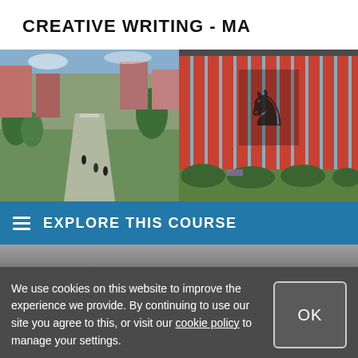CREATIVE WRITING - MA
[Figure (photo): Aerial view of a university campus with green walkways, trees, and pedestrians]
[Figure (photo): Modern university building facade with red vertical panels and a lion emblem]
EXPLORE THIS COURSE
[Figure (photo): Partial photo strip of campus images]
We use cookies on this website to improve the experience we provide. By continuing to use our site you agree to this, or visit our cookie policy to manage your settings.